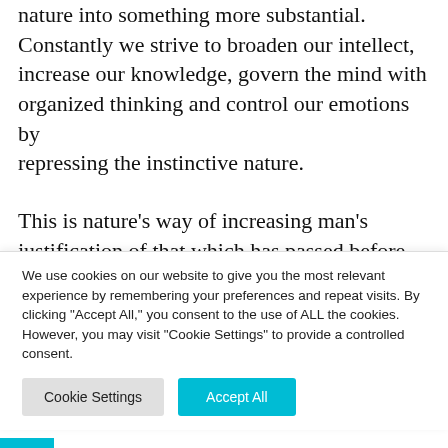nature into something more substantial. Constantly we strive to broaden our intellect, increase our knowledge, govern the mind with organized thinking and control our emotions by repressing the instinctive nature.
This is nature's way of increasing man's justification of that which has passed before the window of the mind and was not pleasing to his intellect, the justification being that enough
We use cookies on our website to give you the most relevant experience by remembering your preferences and repeat visits. By clicking "Accept All," you consent to the use of ALL the cookies. However, you may visit "Cookie Settings" to provide a controlled consent.
Cookie Settings | Accept All